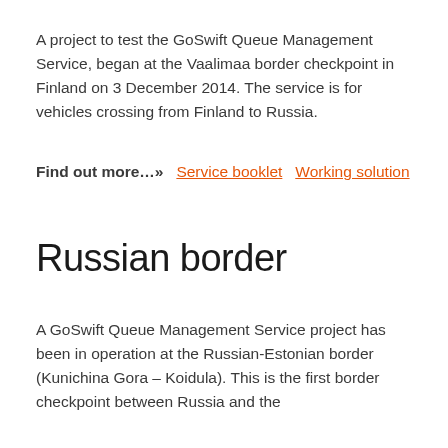A project to test the GoSwift Queue Management Service, began at the Vaalimaa border checkpoint in Finland on 3 December 2014. The service is for vehicles crossing from Finland to Russia.
Find out more…»  Service booklet  Working solution
Russian border
A GoSwift Queue Management Service project has been in operation at the Russian-Estonian border (Kunichina Gora – Koidula). This is the first border checkpoint between Russia and the